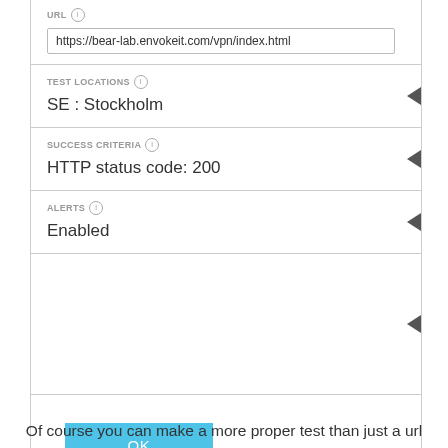URL
https://bear-lab.envokeit.com/vpn/index.html
TEST LOCATIONS
SE : Stockholm
SUCCESS CRITERIA
HTTP status code: 200
ALERTS
Enabled
OK
Of course you can make a more proper test than just a url